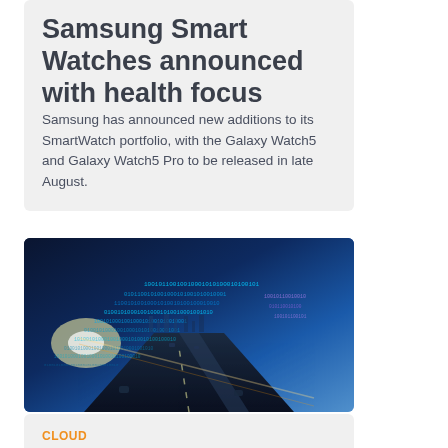Samsung Smart Watches announced with health focus
Samsung has announced new additions to its SmartWatch portfolio, with the Galaxy Watch5 and Galaxy Watch5 Pro to be released in late August.
[Figure (photo): Highway at night with digital binary code overlay, blue tone, data technology concept]
CLOUD
Microsoft and